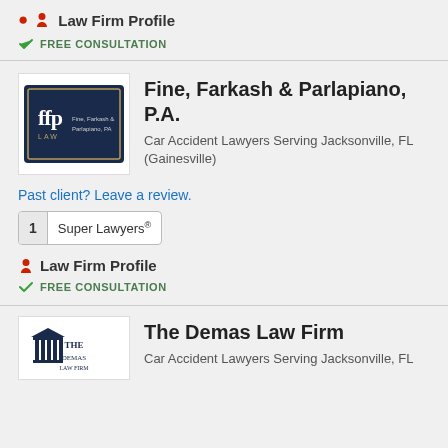Law Firm Profile
FREE CONSULTATION
Fine, Farkash & Parlapiano, P.A.
Car Accident Lawyers Serving Jacksonville, FL (Gainesville)
Past client? Leave a review.
1  Super Lawyers®
Law Firm Profile
FREE CONSULTATION
[Figure (logo): Fine, Farkash & Parlapiano, P.A. law firm logo with ffp letters on dark blue background]
The Demas Law Firm
Car Accident Lawyers Serving Jacksonville, FL
[Figure (logo): The Demas Law Firm logo with columns]